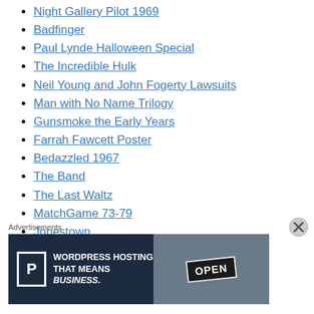Night Gallery Pilot 1969
Badfinger
Paul Lynde Halloween Special
The Incredible Hulk
Neil Young and John Fogerty Lawsuits
Man with No Name Trilogy
Gunsmoke the Early Years
Farrah Fawcett Poster
Bedazzled 1967
The Band
The Last Waltz
MatchGame 73-79
Jonestown
The Zombies
Advertisements
[Figure (screenshot): Advertisement banner for WordPress hosting service with a P parking-style icon and OPEN sign photo on dark blue background]